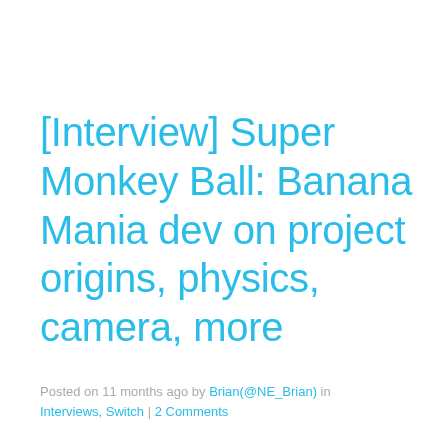[Interview] Super Monkey Ball: Banana Mania dev on project origins, physics, camera, more
Posted on 11 months ago by Brian(@NE_Brian) in Interviews, Switch | 2 Comments